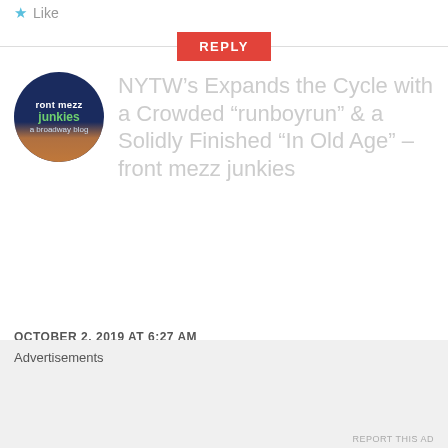Like
[Figure (illustration): REPLY button - red rectangle with white uppercase text]
[Figure (logo): Circular avatar logo for front mezz junkies - a broadway blog, dark blue background with colorful bokeh lights]
NYTW’s Expands the Cycle with a Crowded “runboyrun” & a Solidly Finished “In Old Age” – front mezz junkies
OCTOBER 2, 2019 AT 6:27 AM
Advertisements
REPORT THIS AD